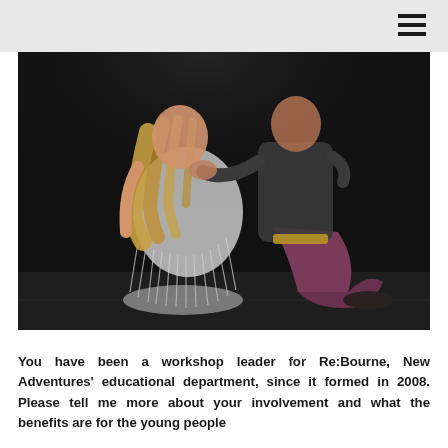[Figure (photo): Two performers on a dark stage: one kneeling in a white tattered/fringed costume with long wavy hair, and another performer in dark shirt and maroon/burgundy trousers, both in an intimate embracing pose on a black stage floor.]
You have been a workshop leader for Re:Bourne, New Adventures' educational department, since it formed in 2008. Please tell me more about your involvement and what the benefits are for the young people